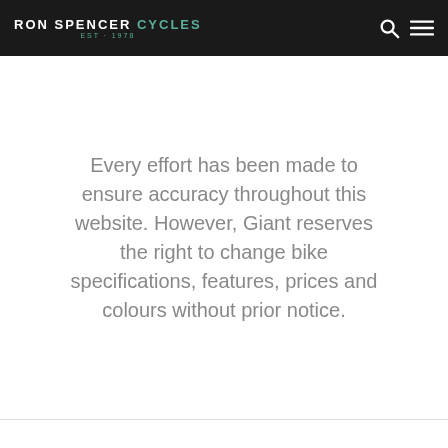RON SPENCER CYCLES EST·1978
Every effort has been made to ensure accuracy throughout this website. However, Giant reserves the right to change bike specifications, features, prices and colours without prior notice.